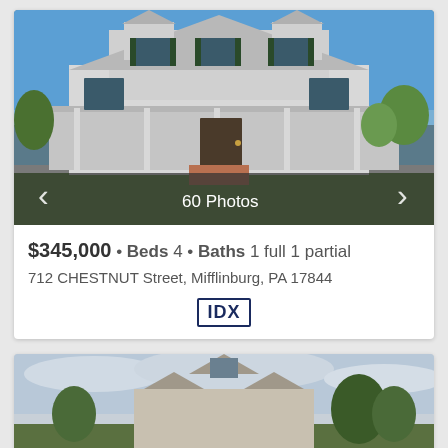[Figure (photo): Exterior photo of a white two-story farmhouse with wrap-around porch, green shutters, brick walkway, and green lawn. Shows '60 Photos' overlay with navigation arrows.]
$345,000 • Beds 4 • Baths 1 full 1 partial
712 CHESTNUT Street, Mifflinburg, PA 17844
[Figure (logo): IDX logo — letters IDX in dark navy bold font inside a rectangular border]
[Figure (photo): Partial view of a second house listing — a gray/beige multi-gabled house with trees, cloudy sky visible at top of page.]